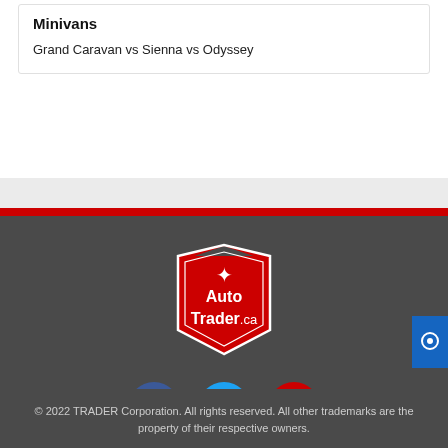Minivans
Grand Caravan vs Sienna vs Odyssey
[Figure (logo): AutoTrader.ca shield logo in red with white text and maple leaf]
[Figure (illustration): Social media icons: Facebook (blue circle with f), Twitter (cyan circle with bird), YouTube (red circle with play button)]
© 2022 TRADER Corporation. All rights reserved. All other trademarks are the property of their respective owners.